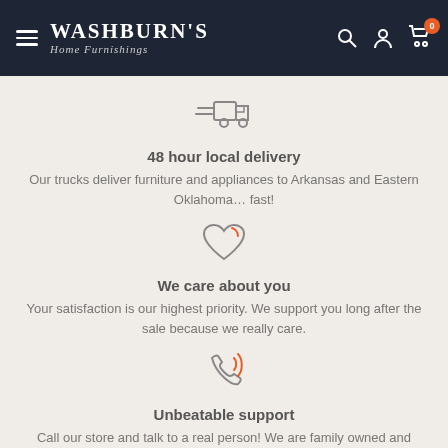WASHBURN'S Home Furnishings
[Figure (illustration): Delivery truck icon with speed lines, outlined in gray]
48 hour local delivery
Our trucks deliver furniture and appliances to Arkansas and Eastern Oklahoma... fast!
[Figure (illustration): Heart outline icon in gray]
We care about you
Your satisfaction is our highest priority. We support you long after the sale because we really care.
[Figure (illustration): Phone with signal waves icon in gray and orange]
Unbeatable support
Call our store and talk to a real person! We are family owned and operated.